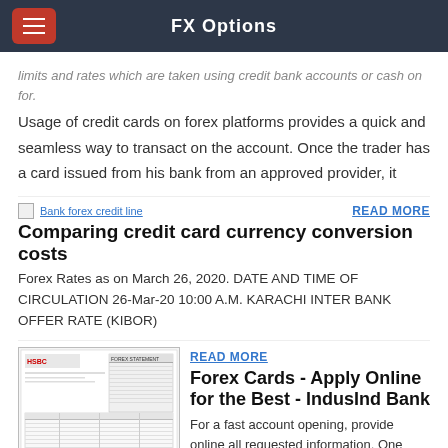FX Options
...limits and rates which are taken using credit bank accounts or cash on for. Usage of credit cards on forex platforms provides a quick and seamless way to transact on the account. Once the trader has a card issued from his bank from an approved provider, it
Bank forex credit line
READ MORE
Comparing credit card currency conversion costs
Forex Rates as on March 26, 2020. DATE AND TIME OF CIRCULATION 26-Mar-20 10:00 A.M. KARACHI INTER BANK OFFER RATE (KIBOR)
READ MORE
Forex Cards - Apply Online for the Best - IndusInd Bank
For a fast account opening, provide online all requested information. One